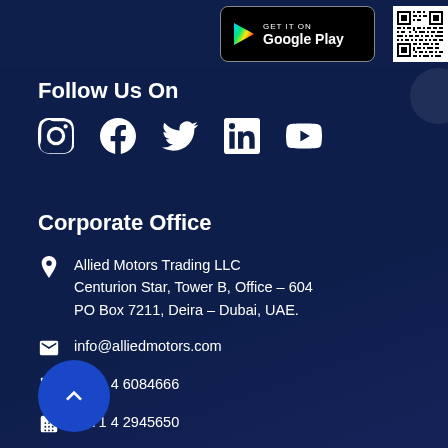[Figure (logo): Google Play store button and QR code in top area]
Follow Us On
[Figure (infographic): Social media icons: Instagram, Facebook, Twitter, LinkedIn, YouTube]
Corporate Office
Allied Motors Trading LLC
Centurion Star, Tower B, Office – 604
PO Box 7211, Deira – Dubai, UAE.
info@alliedmotors.com
+971 4 6084666
+971 4 2945650
+971 50 6753461